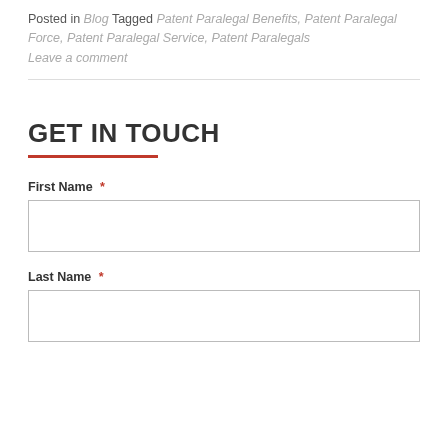Posted in Blog Tagged Patent Paralegal Benefits, Patent Paralegal Force, Patent Paralegal Service, Patent Paralegals
Leave a comment
GET IN TOUCH
First Name *
Last Name *